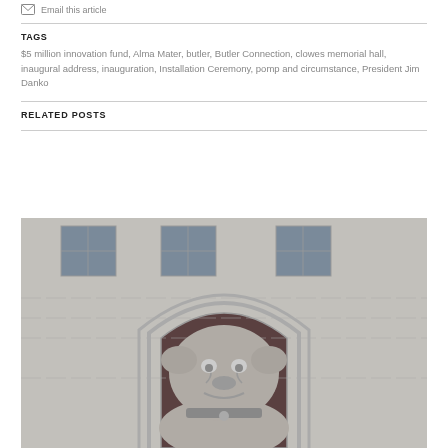Email this article
TAGS
$5 million innovation fund, Alma Mater, butler, Butler Connection, clowes memorial hall, inaugural address, inauguration, Installation Ceremony, pomp and circumstance, President Jim Danko
RELATED POSTS
[Figure (photo): Stone bulldog statue in front of a stone building with arched doorway and multi-pane windows, photographed in black and white]